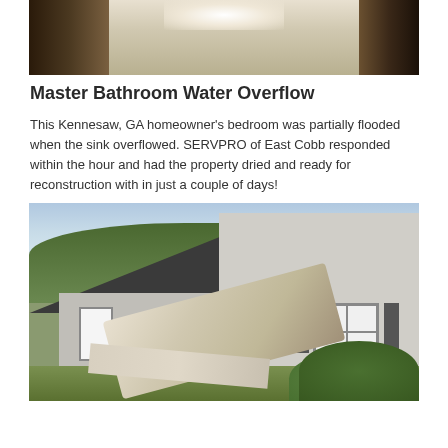[Figure (photo): Interior photo of a bedroom/hallway partially flooded, showing bare floor and dark wood furniture on sides]
Master Bathroom Water Overflow
This Kennesaw, GA homeowner's bedroom was partially flooded when the sink overflowed. SERVPRO of East Cobb responded within the hour and had the property dried and ready for reconstruction with in just a couple of days!
[Figure (photo): Exterior photo of a house with storm/vehicle damage — siding collapse, debris, and structural damage visible near the garage area; green shrubs and trees in background]